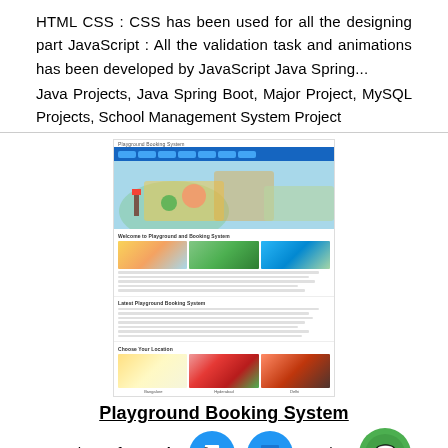HTML CSS : CSS has been used for all the designing part JavaScript : All the validation task and animations has been developed by JavaScript Java Spring...
Java Projects, Java Spring Boot, Major Project, MySQL Projects, School Management System Project
[Figure (screenshot): Screenshot of Playground Booking System website showing a hero image, gallery section with playground photos, text content section, and location selection with city images]
Playground Booking System
Posted By freeproje... Wedne... ugust 10, 2022 - 13:01 Java Spring Boot Angular and MySQL Project on Playground Booking System Technology Used in the project Playground